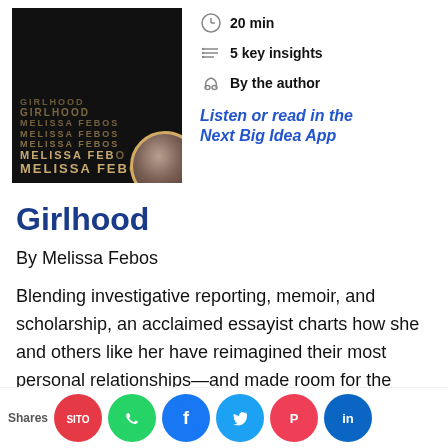[Figure (photo): Book cover of 'Girlhood' by Melissa Febos — dark background with gold/bronze text repeated in stacked lines, with a circular author photo overlay at bottom right]
20 min
5 key insights
By the author
Listen or read in the Next Big Idea App
Girlhood
By Melissa Febos
Blending investigative reporting, memoir, and scholarship, an acclaimed essayist charts how she and others like her have reimagined their most personal relationships—and made room for the anger, grief, power, and pleasure women e ... ee ... gh ... er ... ce ... ur